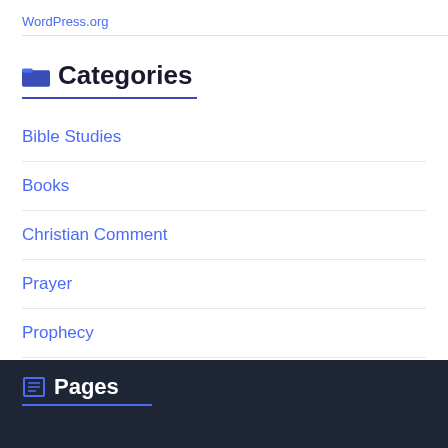WordPress.org
Categories
Bible Studies
Books
Christian Comment
Prayer
Prophecy
Uncategorized
Pages